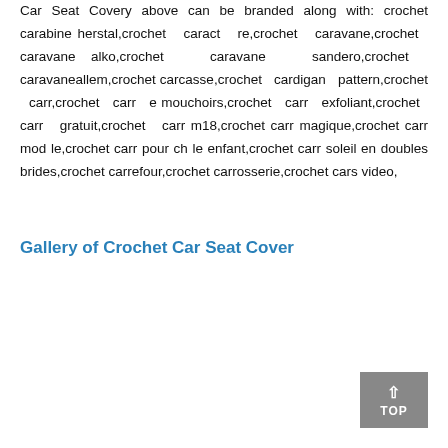Car Seat Covery above can be branded along with: crochet carabine herstal,crochet caract re,crochet caravane,crochet caravane alko,crochet caravane sandero,crochet caravaneallem,crochet carcasse,crochet cardigan pattern,crochet carr,crochet carr e mouchoirs,crochet carr exfoliant,crochet carr gratuit,crochet carr m18,crochet carr magique,crochet carr mod le,crochet carr pour ch le enfant,crochet carr soleil en doubles brides,crochet carrefour,crochet carrosserie,crochet cars video,
Gallery of Crochet Car Seat Cover